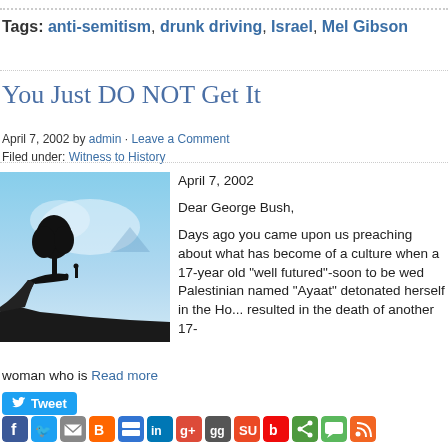Tags: anti-semitism, drunk driving, Israel, Mel Gibson
You Just DO NOT Get It
April 7, 2002 by admin · Leave a Comment
Filed under: Witness to History
[Figure (photo): Silhouette of a person and tree on a cliff edge against a blue sky background]
April 7, 2002

Dear George Bush,

Days ago you came upon us preaching about what has become of a culture when a 17-year old "well futured"-soon to be wed Palestinian woman named "Ayaat" detonated herself in the Ho... resulted in the death of another 17-... woman who is Read more